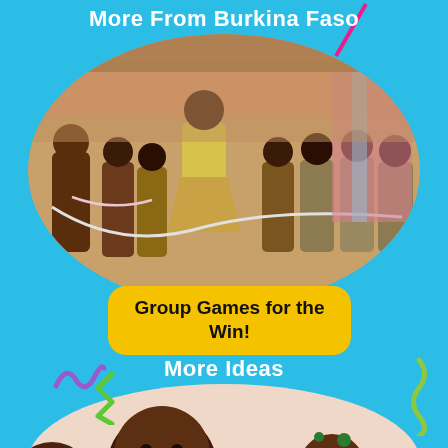More From Burkina Faso
[Figure (photo): Children in school uniforms playing jump rope outdoors in Burkina Faso. One girl in a yellow shirt is jumping while others hold the rope and watch.]
Group Games for the Win!
More Ideas
[Figure (photo): Close-up of a young child looking directly at the camera, with another young child visible to the right, both appearing to be in an early childhood setting.]